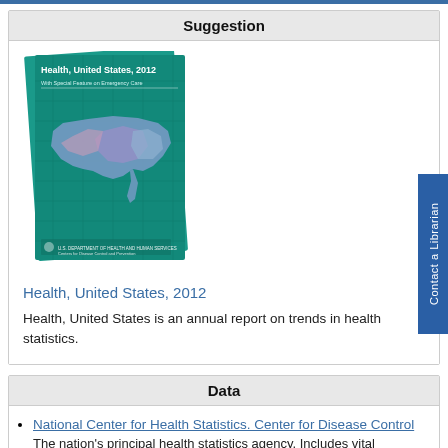Suggestion
[Figure (illustration): Book cover of Health, United States, 2012 — teal green cover showing a map of the United States with colorful disease/health data overlay]
Health, United States, 2012
Health, United States is an annual report on trends in health statistics.
Data
National Center for Health Statistics. Center for Disease Control
The nation's principal health statistics agency. Includes vital statistics, trends in health and mortality rates, disease data,